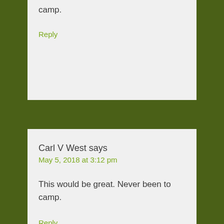camp.
Reply
Carl V West says
May 5, 2018 at 3:12 pm
This would be great. Never been to camp.
Reply
Carl V West says